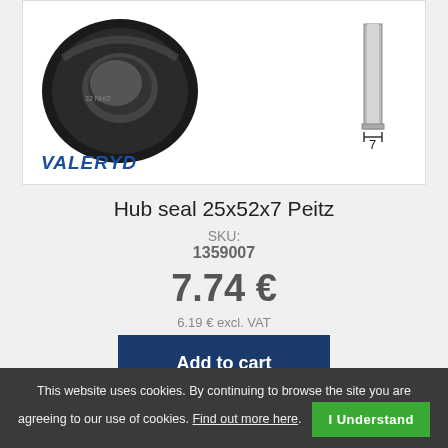[Figure (photo): Product image of a hub seal (black rubber ring) shown from the front, with a side-profile engineering diagram showing thickness dimension labeled '7', and the VALERYD brand logo in blue italic text at bottom left of the image box.]
Hub seal 25x52x7 Peitz
SKU:
1359007
7.74 €
6.19 € excl. VAT
Add to cart
This website uses cookies. By continuing to browse the site you are agreeing to our use of cookies. Find out more here. I Understand